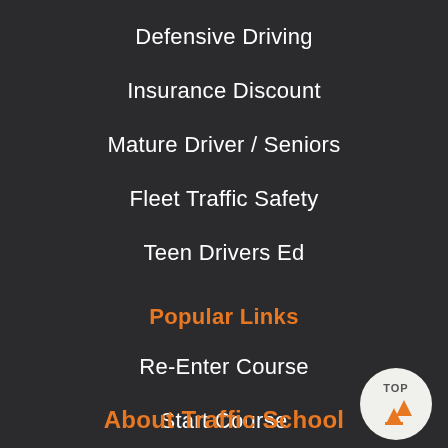Defensive Driving
Insurance Discount
Mature Driver / Seniors
Fleet Traffic Safety
Teen Drivers Ed
Popular Links
Re-Enter Course
Start Course
Courses by State
How it Works
About Traffic School